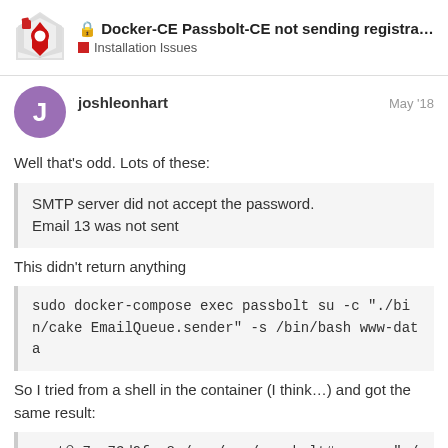Docker-CE Passbolt-CE not sending registrati… — Installation Issues
joshleonhart — May '18
Well that's odd. Lots of these:
SMTP server did not accept the password.
Email 13 was not sent
This didn't return anything
sudo docker-compose exec passbolt su -c "./bin/cake EmailQueue.sender" -s /bin/bash www-data
So I tried from a shell in the container (I think…) and got the same result:
root@e7ae73d9fee8:/var/www/passbolt# su -c "./bin/cake EmailQueue.sender" -s /bin/bash www-data